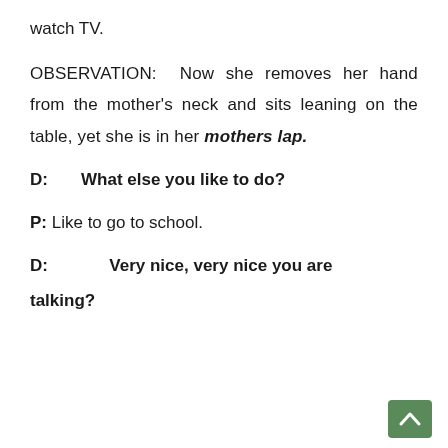watch TV.
OBSERVATION: Now she removes her hand from the mother's neck and sits leaning on the table, yet she is in her mothers lap.
D:    What else you like to do?
P: Like to go to school.
D:          Very nice, very nice you are talking?